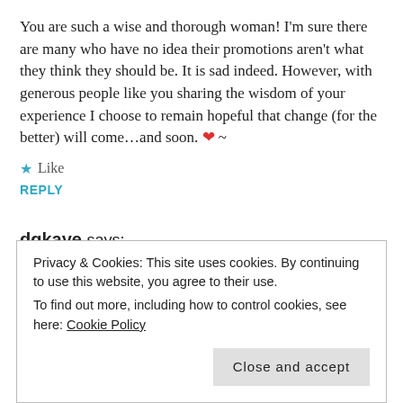You are such a wise and thorough woman! I'm sure there are many who have no idea their promotions aren't what they think they should be. It is sad indeed. However, with generous people like you sharing the wisdom of your experience I choose to remain hopeful that change (for the better) will come…and soon. ❤ ~
Like
REPLY
dgkaye says:
July 25, 2014 at 6:38 pm
Thanks for your words of confidence Christine. You are so d…
Privacy & Cookies: This site uses cookies. By continuing to use this website, you agree to their use. To find out more, including how to control cookies, see here: Cookie Policy